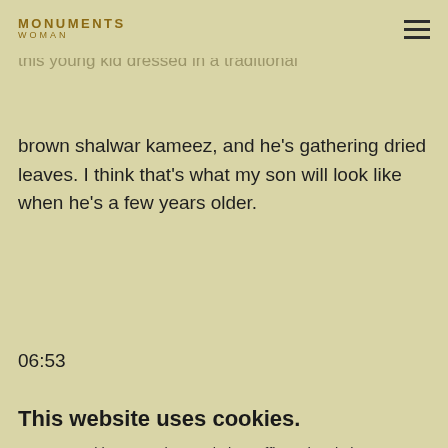MONUMENTS WOMAN
of one of the huge Buddhist stupas that you talk about in previous episodes. Standing in the foreground, is this young kid dressed in a traditional brown shalwar kameez, and he's gathering dried leaves. I think that's what my son will look like when he's a few years older.
06:53
. — .
This website uses cookies.
We use cookies to analyze website traffic and optimize your website experience. By accepting our use of cookies, your data will be aggregated with all other user data.
Accept